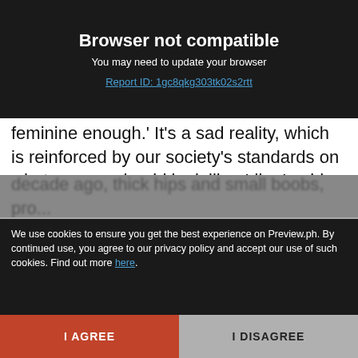Browser not compatible
You may need to update your browser
Report ID: 1gc8qkg303tk02s2rtt
feminine enough.' It's a sad reality, which is reinforced by our society's standards on what women should look like. Like I said, everyone is beautiful in their own way. Transwomen shouldn't feel inferior if they don't meet society's standards. First of all, a lot of cis women have small boobs, broad [Read on App] arrow hips, etc. Second, beauty standards are always changing.
decade ago, thick hips and small boobs, pro...
dresses...
We use cookies to ensure you get the best experience on Preview.ph. By continued use, you agree to our privacy policy and accept our use of such cookies. Find out more here.
I AGREE
I DISAGREE